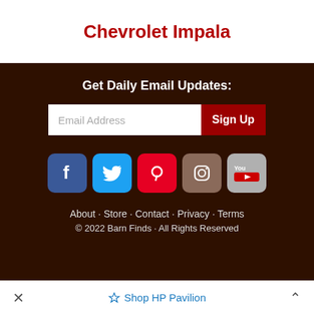Chevrolet Impala
Get Daily Email Updates:
Email Address  Sign Up
[Figure (infographic): Social media icons: Facebook, Twitter, Pinterest, Instagram, YouTube]
About · Store · Contact · Privacy · Terms
© 2022 Barn Finds · All Rights Reserved
Shop HP Pavilion